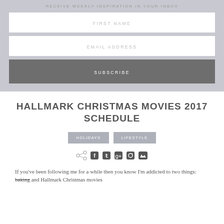RECEIVE WEEKLY INSPIRATION IN YOUR INBOX
FIRST NAME
EMAIL ADDRESS
SUBSCRIBE
HALLMARK CHRISTMAS MOVIES 2017 SCHEDULE
HOLIDAYS
LIFESTYLE
If you've been following me for a while then you know I'm addicted to two things: baking and Hallmark Christmas movies.